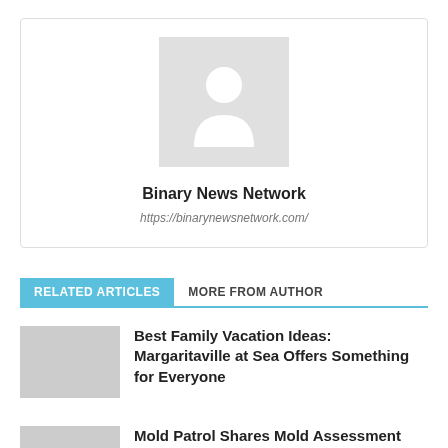[Figure (illustration): Default avatar placeholder silhouette of a person in light gray]
Binary News Network
https://binarynewsnetwork.com/
RELATED ARTICLES
MORE FROM AUTHOR
Best Family Vacation Ideas: Margaritaville at Sea Offers Something for Everyone
Mold Patrol Shares Mold Assessment